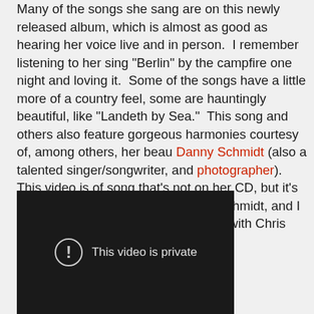Many of the songs she sang are on this newly released album, which is almost as good as hearing her voice live and in person.  I remember listening to her sing "Berlin" by the campfire one night and loving it.  Some of the songs have a little more of a country feel, some are hauntingly beautiful, like "Landeth by Sea."  This song and others also feature gorgeous harmonies courtesy of, among others, her beau Danny Schmidt (also a talented singer/songwriter, and photographer).  This video is of song that's not on her CD, but it's a gorgeous song written by Danny Schmidt, and I really love the way her voice sounds with Chris and Johnny of Storyhill.
[Figure (screenshot): Embedded video player showing 'This video is private' message with an exclamation mark icon on a dark background.]